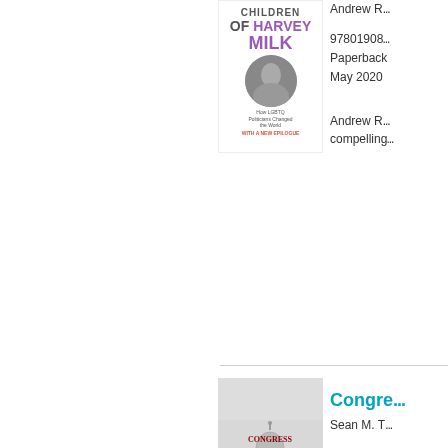[Figure (illustration): Book cover: Children of Harvey Milk - purple title text, circular photo inset, subtitle about LGBTQ politicians]
Andrew R...
9780190...
Paperback
May 2020
Andrew R... compelling...
[Figure (illustration): Book cover: Congress - The First Branch, black and white photo of US Capitol building]
Congre...
Sean M. T...
9780199...
Paperback
January 2...
An inside... decision-...
[Figure (illustration): Book cover: Women, Power, and Politics - blue cover with white bold text]
Women... Equality...
Lori Cox ...